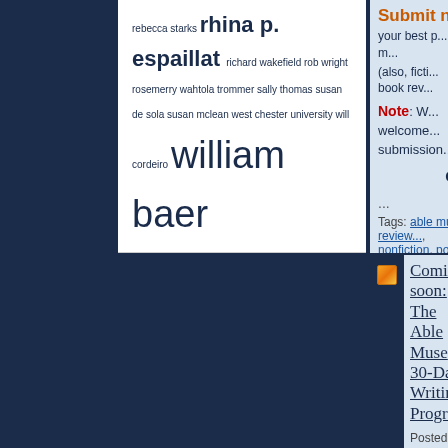rebecca starks rhina p. espaillat richard wakefield rob wright rosemerry wahtola trommer sally thomas susan de sola susan mclean west chester university will cordeiro william baer william conelly winner write prize zoom poetry reading zoom reading
Search by Tag
Submit no... your best p... m... (also, ficti... book rev...
Note: W... welcome... submission... q...
...
Tags: able muse, art, book review..., nonfiction, poetry, submission
Posted in Uncategorized
Coming soon: The Able Muse 30-Day Writing Program
Posted 08-20-2011 at
Ale... Ac...